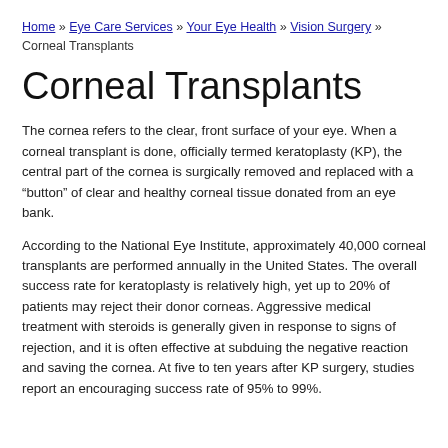Home » Eye Care Services » Your Eye Health » Vision Surgery » Corneal Transplants
Corneal Transplants
The cornea refers to the clear, front surface of your eye. When a corneal transplant is done, officially termed keratoplasty (KP), the central part of the cornea is surgically removed and replaced with a “button” of clear and healthy corneal tissue donated from an eye bank.
According to the National Eye Institute, approximately 40,000 corneal transplants are performed annually in the United States. The overall success rate for keratoplasty is relatively high, yet up to 20% of patients may reject their donor corneas. Aggressive medical treatment with steroids is generally given in response to signs of rejection, and it is often effective at subduing the negative reaction and saving the cornea. At five to ten years after KP surgery, studies report an encouraging success rate of 95% to 99%.